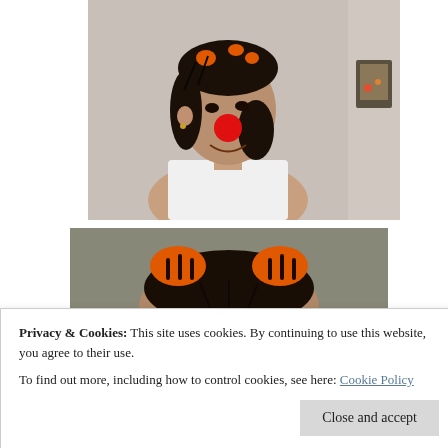[Figure (photo): A young woman wearing a red clown nose and orange hair accessories, smiling, wearing a white tank top. Indoor background with a framed picture on the wall.]
[Figure (photo): Top-down or close-up view of the same person's head showing orange hair accessories/buns against a gray background.]
Privacy & Cookies: This site uses cookies. By continuing to use this website, you agree to their use.
To find out more, including how to control cookies, see here: Cookie Policy
[Figure (photo): Partial third photo visible at bottom of page, showing the same person with a green background.]